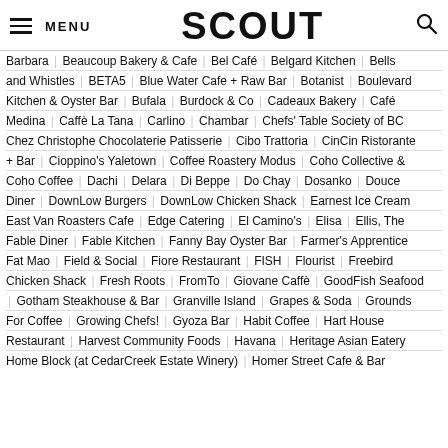MENU | SCOUT | Search
Barbara | Beaucoup Bakery & Cafe | Bel Café | Belgard Kitchen | Bells and Whistles | BETA5 | Blue Water Cafe + Raw Bar | Botanist | Boulevard Kitchen & Oyster Bar | Bufala | Burdock & Co | Cadeaux Bakery | Café Medina | Caffè La Tana | Carlino | Chambar | Chefs' Table Society of BC | Chez Christophe Chocolaterie Patisserie | Cibo Trattoria | CinCin Ristorante + Bar | Cioppino's Yaletown | Coffee Roastery Modus | Coho Collective & Coho Coffee | Dachi | Delara | Di Beppe | Do Chay | Dosanko | Douce Diner | DownLow Burgers | DownLow Chicken Shack | Earnest Ice Cream | East Van Roasters Cafe | Edge Catering | El Camino's | Elisa | Ellis, The | Fable Diner | Fable Kitchen | Fanny Bay Oyster Bar | Farmer's Apprentice | Fat Mao | Field & Social | Fiore Restaurant | FISH | Flourist | Freebird Chicken Shack | Fresh Roots | FromTo | Giovane Caffè | GoodFish Seafood | Gotham Steakhouse & Bar | Granville Island | Grapes & Soda | Grounds For Coffee | Growing Chefs! | Gyoza Bar | Habit Coffee | Hart House Restaurant | Harvest Community Foods | Havana | Heritage Asian Eatery | Home Block (at CedarCreek Estate Winery) | Homer Street Cafe & Bar